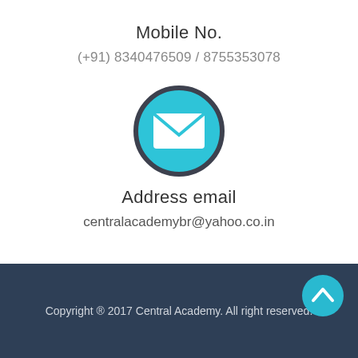[Figure (illustration): Teal/cyan circle with dark border containing a phone icon at the top (partially cut off)]
Mobile No.
(+91) 8340476509 / 8755353078
[Figure (illustration): Teal/cyan circle with dark border containing a white envelope/email icon]
Address email
centralacademybr@yahoo.co.in
Copyright ® 2017 Central Academy. All right reserved.